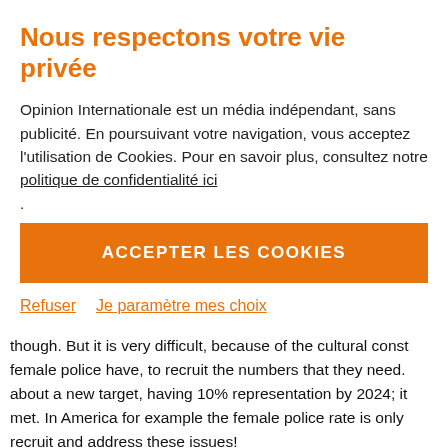Nous respectons votre vie privée
Opinion Internationale est un média indépendant, sans publicité. En poursuivant votre navigation, vous acceptez l'utilisation de Cookies. Pour en savoir plus, consultez notre politique de confidentialité ici
.
ACCEPTER LES COOKIES
Refuser    Je paramètre mes choix
moment, they only have 1031. That has grown considerab though. But it is very difficult, because of the cultural const female police have, to recruit the numbers that they need. about a new target, having 10% representation by 2024; it met. In America for example the female police rate is only recruit and address these issues!
So I think it is good to have targets, and certainly at Oxfam report, is that policewomen be deployed in groups no less